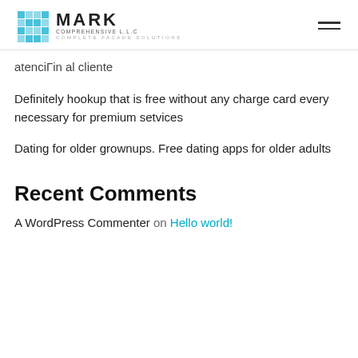Mark Comprehensive LLC — Complete Facade Solutions
atenciÓin al cliente
Definitely hookup that is free without any charge card every necessary for premium setvices
Dating for older grownups. Free dating apps for older adults
Recent Comments
A WordPress Commenter on Hello world!